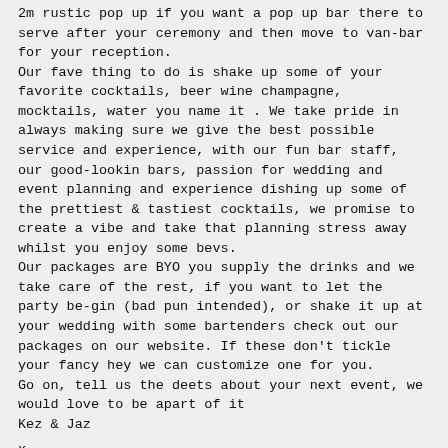2m rustic pop up if you want a pop up bar there to serve after your ceremony and then move to van-bar for your reception.
Our fave thing to do is shake up some of your favorite cocktails, beer wine champagne, mocktails, water you name it . We take pride in always making sure we give the best possible service and experience, with our fun bar staff, our good-lookin bars, passion for wedding and event planning and experience dishing up some of the prettiest & tastiest cocktails, we promise to create a vibe and take that planning stress away whilst you enjoy some bevs.
Our packages are BYO you supply the drinks and we take care of the rest, if you want to let the party be-gin (bad pun intended), or shake it up at your wedding with some bartenders check out our packages on our website. If these don't tickle your fancy hey we can customize one for you.
Go on, tell us the deets about your next event, we would love to be apart of it
Kez & Jaz

x